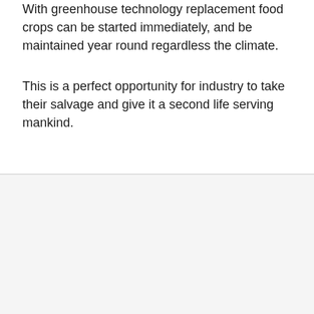With greenhouse technology replacement food crops can be started immediately, and be maintained year round regardless the climate.
This is a perfect opportunity for industry to take their salvage and give it a second life serving mankind.
CONTACT US
+1 954 608 8182
urbanagandenergy@gmail.com